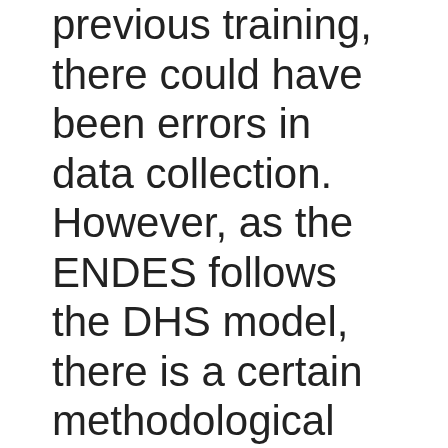previous training, there could have been errors in data collection. However, as the ENDES follows the DHS model, there is a certain methodological strength in the data collection. Consequently, the bias may have been lower than would otherwise be expected. The OHSU did not distinguish between